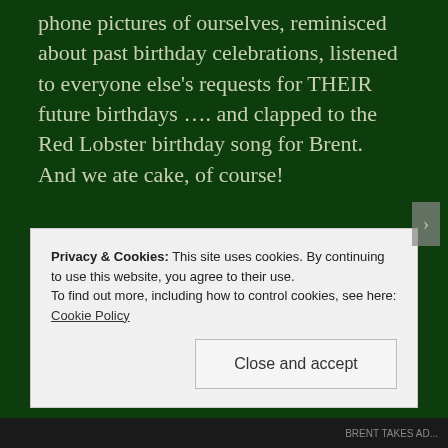phone pictures of ourselves, reminisced about past birthday celebrations, listened to everyone else's requests for THEIR future birthdays …. and clapped to the Red Lobster birthday song for Brent.  And we ate cake, of course!

It didn't start out like this, our life together.  Wow, not by a long shot.  And the meltdowns and frustrations and arguments still occur, but they're different now.  They just don't go as
Privacy & Cookies: This site uses cookies. By continuing to use this website, you agree to their use.
To find out more, including how to control cookies, see here: Cookie Policy
Close and accept